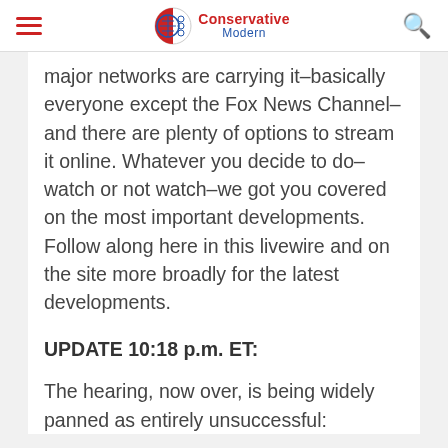Conservative Modern
major networks are carrying it–basically everyone except the Fox News Channel–and there are plenty of options to stream it online. Whatever you decide to do–watch or not watch–we got you covered on the most important developments. Follow along here in this livewire and on the site more broadly for the latest developments.
UPDATE 10:18 p.m. ET:
The hearing, now over, is being widely panned as entirely unsuccessful: